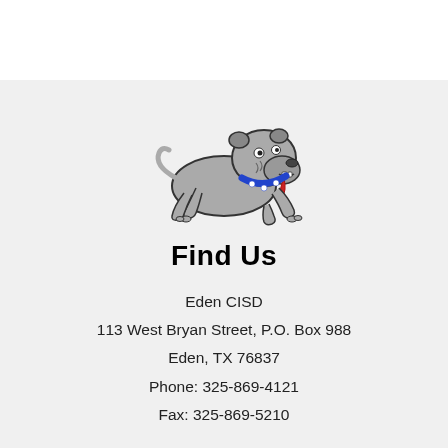[Figure (illustration): Gray bulldog mascot with blue collar and red tongue, crouching in aggressive stance]
Find Us
Eden CISD
113 West Bryan Street, P.O. Box 988
Eden, TX 76837
Phone: 325-869-4121
Fax: 325-869-5210